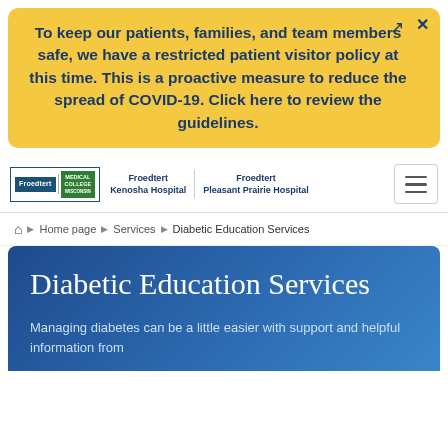To keep our patients, families, and team members safe, we have a restricted patient visitor policy at this time. This is a proactive measure to reduce the spread of COVID-19. Click here to review the guidelines.
[Figure (logo): Froedtert & Medical College of Wisconsin logo with hospital names: Froedtert Kenosha Hospital and Froedtert Pleasant Prairie Hospital]
Home page ▶ Services ▶ Diabetic Education Services
Diabetic Education Services
Managing diabetes can be a little easier with support and helpful information from